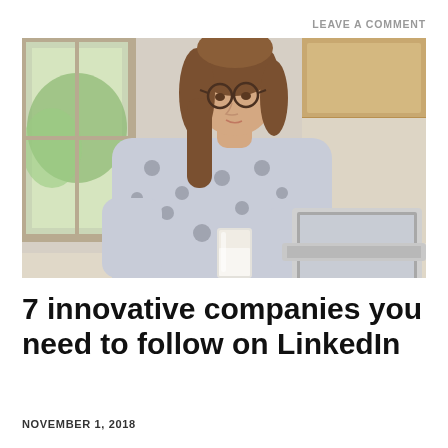LEAVE A COMMENT
[Figure (photo): Woman with brown hair and glasses sitting at a kitchen counter, typing on a laptop computer, with a glass of milk beside her. Natural light coming through a window on the left. Wooden cabinets visible above.]
7 innovative companies you need to follow on LinkedIn
NOVEMBER 1, 2018